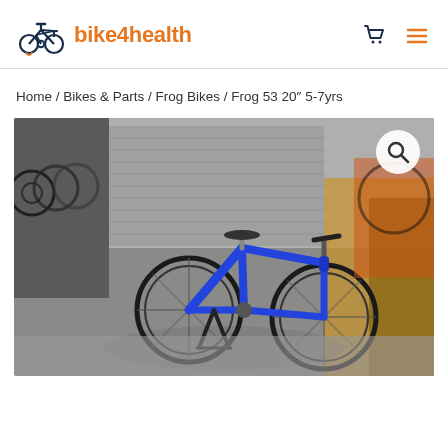bike4health
Home / Bikes & Parts / Frog Bikes / Frog 53 20″ 5-7yrs
[Figure (photo): Blue Frog 53 20 inch children's bicycle on a display stand inside a bike shop with many bikes on racks in the background. A magnify/search icon is visible in the top right corner of the image.]